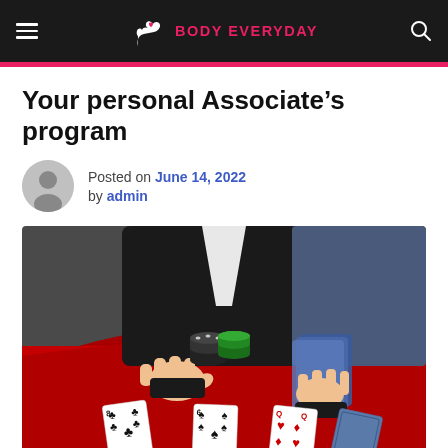BODY EVERYDAY
Your personal Associate’s program
Posted on June 14, 2022 by admin
[Figure (photo): Casino dealer scene: a person in a black suit holds a deck of cards with the other hand resting on a red felt poker table. Poker chips (black and green) and three playing cards are visible on the table.]